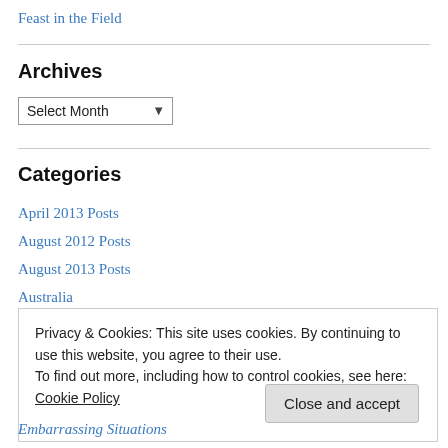Feast in the Field
Archives
Select Month
Categories
April 2013 Posts
August 2012 Posts
August 2013 Posts
Australia
Privacy & Cookies: This site uses cookies. By continuing to use this website, you agree to their use.
To find out more, including how to control cookies, see here: Cookie Policy
Close and accept
Embarrassing Situations